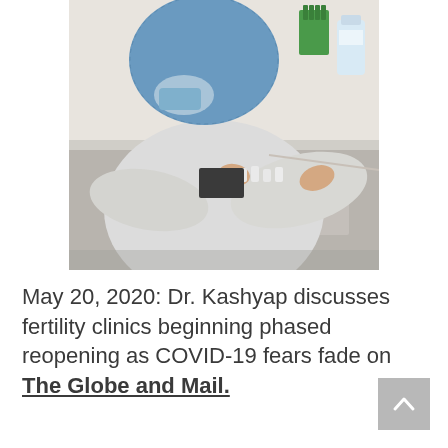[Figure (photo): A person in a blue hairnet, surgical mask, and white lab coat working at a laboratory bench, handling small vials or containers. Lab equipment including a green test tube rack and bottles are visible in the background.]
May 20, 2020: Dr. Kashyap discusses fertility clinics beginning phased reopening as COVID-19 fears fade on The Globe and Mail.